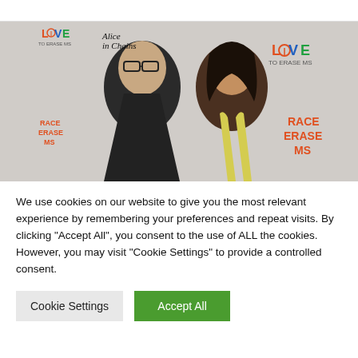[Figure (photo): A man in a dark suit with glasses and a woman in a yellow dress posing together at a 'Love to Erase MS' / 'Race to Erase MS' charity event backdrop.]
We use cookies on our website to give you the most relevant experience by remembering your preferences and repeat visits. By clicking "Accept All", you consent to the use of ALL the cookies. However, you may visit "Cookie Settings" to provide a controlled consent.
Cookie Settings
Accept All